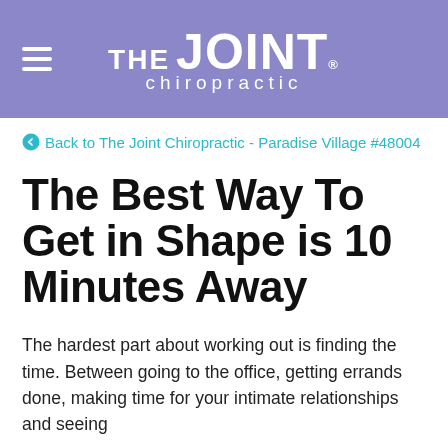THE JOINT. chiropractic
Back to The Joint Chiropractic - Paradise Village #48004
The Best Way To Get in Shape is 10 Minutes Away
The hardest part about working out is finding the time. Between going to the office, getting errands done, making time for your intimate relationships and seeing